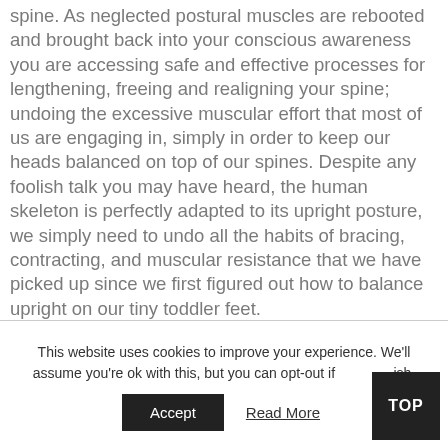spine. As neglected postural muscles are rebooted and brought back into your conscious awareness you are accessing safe and effective processes for lengthening, freeing and realigning your spine; undoing the excessive muscular effort that most of us are engaging in, simply in order to keep our heads balanced on top of our spines. Despite any foolish talk you may have heard, the human skeleton is perfectly adapted to its upright posture, we simply need to undo all the habits of bracing, contracting, and muscular resistance that we have picked up since we first figured out how to balance upright on our tiny toddler feet.
This website uses cookies to improve your experience. We'll assume you're ok with this, but you can opt-out if you wish.